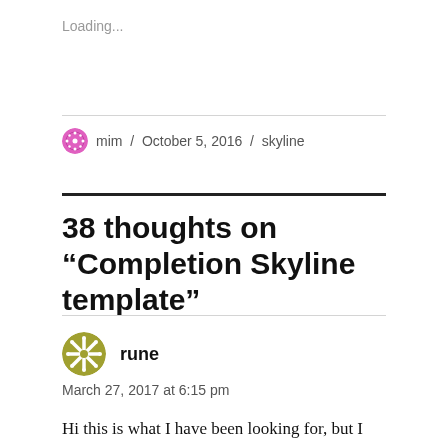Loading...
mim / October 5, 2016 / skyline
38 thoughts on “Completion Skyline template”
rune
March 27, 2017 at 6:15 pm
Hi this is what I have been looking for, but I can